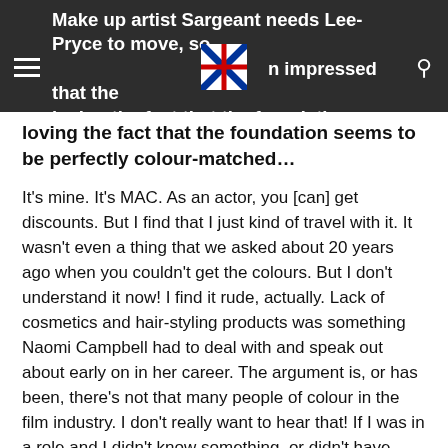Make up artist Sargeant needs Lee-Pryce to move, so [she] can blend, blend, blend... [I'm] impressed that the loving the fact that the foundation seems to be perfectly colour-matched…
It's mine. It's MAC. As an actor, you [can] get discounts. But I find that I just kind of travel with it. It wasn't even a thing that we asked about 20 years ago when you couldn't get the colours. But I don't understand it now! I find it rude, actually. Lack of cosmetics and hair-styling products was something Naomi Campbell had to deal with and speak out about early on in her career. The argument is, or has been, there's not that many people of colour in the film industry. I don't really want to hear that! If I was in a role and I didn't know something, or didn't have experience, I'd go and get the experience. I'd go and